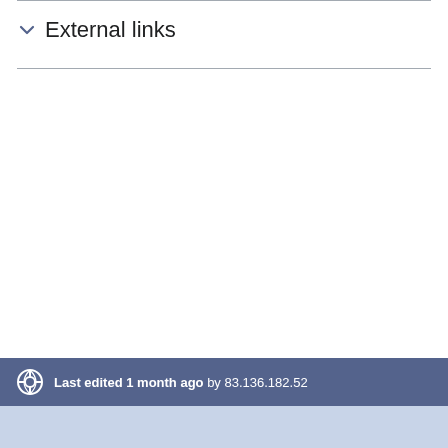External links
Last edited 1 month ago by 83.136.182.52